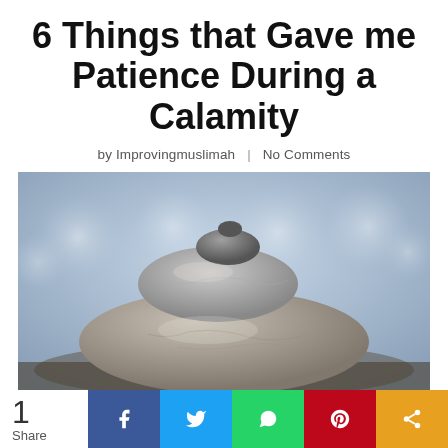6 Things that Gave me Patience During a Calamity
by Improvingmuslimah  |  No Comments
[Figure (photo): Stacked zen balance stones with blurred bokeh background]
1 Share [Facebook] [Twitter] [WhatsApp] [Pinterest] [Share]